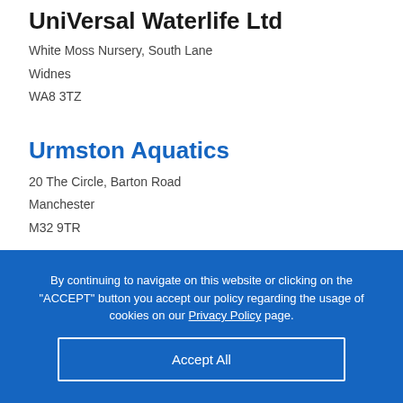UniVersal Waterlife Ltd
White Moss Nursery, South Lane
Widnes
WA8 3TZ
Urmston Aquatics
20 The Circle, Barton Road
Manchester
M32 9TR
By continuing to navigate on this website or clicking on the "ACCEPT" button you accept our policy regarding the usage of cookies on our Privacy Policy page.
Accept All